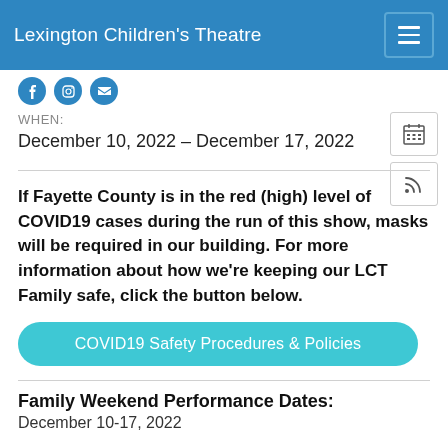Lexington Children's Theatre
[Figure (other): Partial social media icons strip (Facebook, Instagram, etc.) cropped at top]
WHEN:
December 10, 2022 – December 17, 2022
If Fayette County is in the red (high) level of COVID19 cases during the run of this show, masks will be required in our building. For more information about how we're keeping our LCT Family safe, click the button below.
COVID19 Safety Procedures & Policies
Family Weekend Performance Dates:
December 10-17, 2022